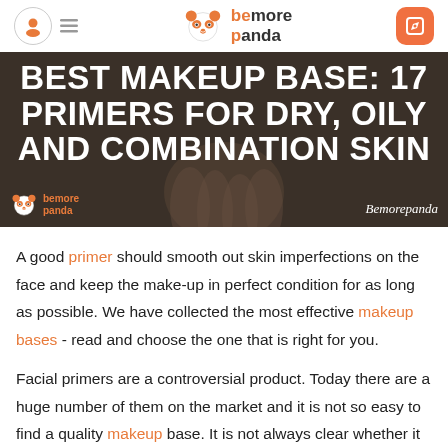be more panda
[Figure (screenshot): Hero banner with dark background showing hands and bold white text: BEST MAKEUP BASE: 17 PRIMERS FOR DRY, OILY AND COMBINATION SKIN, with bemorepanda logo and Bemorepanda watermark]
A good primer should smooth out skin imperfections on the face and keep the make-up in perfect condition for as long as possible. We have collected the most effective makeup bases - read and choose the one that is right for you.
Facial primers are a controversial product. Today there are a huge number of them on the market and it is not so easy to find a quality makeup base. It is not always clear whether it is needed at all. Let's try to figure it out, and at the same time, we